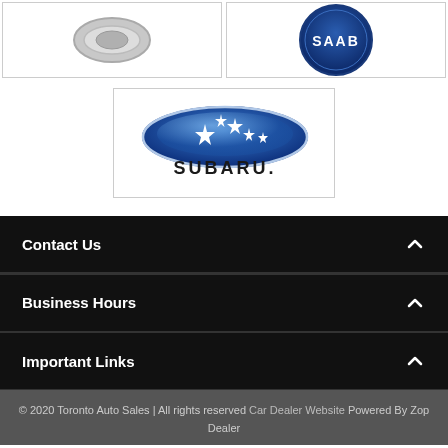[Figure (logo): Partial car brand logo (top-left), cropped]
[Figure (logo): SAAB logo (blue circular badge with SAAB text, top-right)]
[Figure (logo): Subaru logo: blue oval star emblem above SUBARU. text (center)]
Contact Us
Business Hours
Important Links
© 2020 Toronto Auto Sales | All rights reserved Car Dealer Website Powered By Zop Dealer